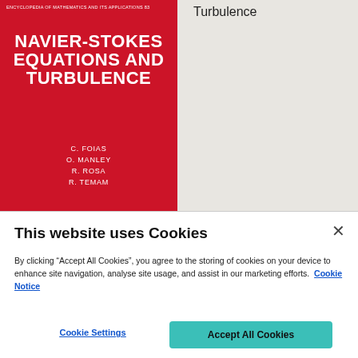[Figure (photo): Book cover for 'Navier-Stokes Equations and Turbulence' with red background, authors C. Foias, O. Manley, R. Rosa, R. Temam, part of Encyclopedia of Mathematics and Its Applications 83]
Turbulence
This website uses Cookies
By clicking “Accept All Cookies”, you agree to the storing of cookies on your device to enhance site navigation, analyse site usage, and assist in our marketing efforts. Cookie Notice
Cookie Settings
Accept All Cookies